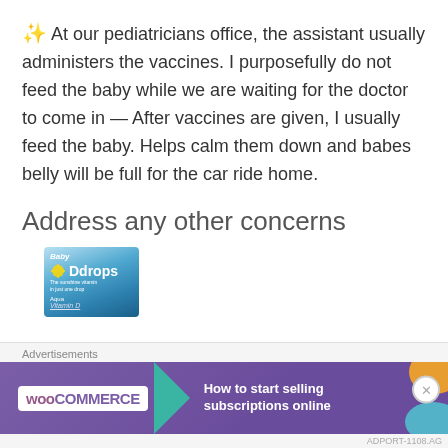✨ At our pediatricians office, the assistant usually administers the vaccines. I purposefully do not feed the baby while we are waiting for the doctor to come in — After vaccines are given, I usually feed the baby. Helps calm them down and babes belly will be full for the car ride home.
Address any other concerns
[Figure (photo): Baby Ddrops product image — a blue box with sunshine vitamin D drops branding]
Advertisements
[Figure (infographic): WooCommerce advertisement banner: 'How to start selling subscriptions online']